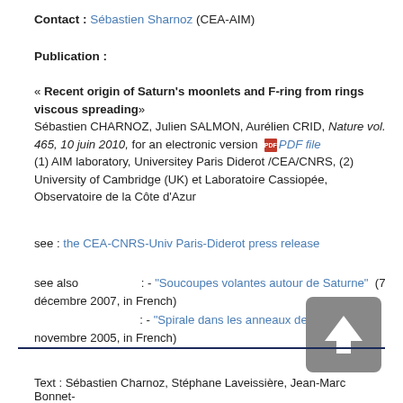Contact : Sébastien Sharnoz (CEA-AIM)
Publication :
« Recent origin of Saturn's moonlets and F-ring from rings viscous spreading» Sébastien CHARNOZ, Julien SALMON, Aurélien CRID, Nature vol. 465, 10 juin 2010, for an electronic version PDF file (1) AIM laboratory, Universitey Paris Diderot /CEA/CNRS, (2) University of Cambridge (UK) et Laboratoire Cassiopée, Observatoire de la Côte d'Azur
see : the CEA-CNRS-Univ Paris-Diderot press release
see also : - "Soucoupes volantes autour de Saturne" (7 décembre 2007, in French)
 : - "Spirale dans les anneaux de Saturne" (24 novembre 2005, in French)
Text : Sébastien Charnoz, Stéphane Laveissière, Jean-Marc Bonnet-